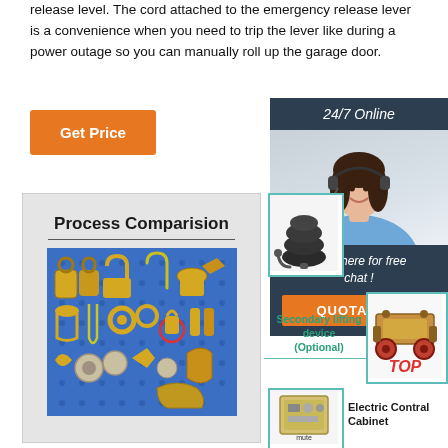release level. The cord attached to the emergency release lever is a convenience when you need to trip the lever like during a power outage so you can manually roll up the garage door.
Get Price
[Figure (photo): Customer service representative with headset, 24/7 Online banner, Click here for free chat, QUOTATION button]
[Figure (photo): Process Comparision board showing various hardware tools on a blue pegboard]
[Figure (photo): Air bag or lifting device product image in teal border]
Secondary lifting device (Optional)
[Figure (illustration): Secondary lifting device product image with TOP label]
[Figure (photo): Electric Control Cabinet product image]
Electric Contral Cabinet